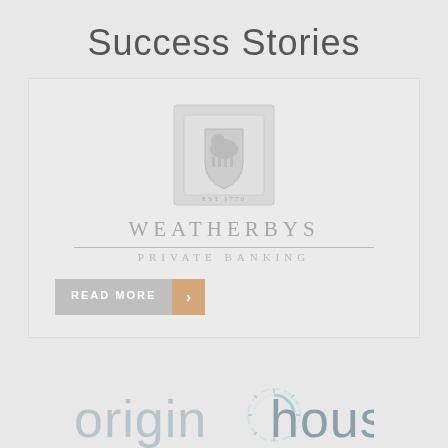Success Stories
[Figure (logo): Weatherbys Private Banking logo with crest illustration and text 'WEATHERBYS PRIVATE BANKING' with a horizontal rule separator]
READ MORE →
[Figure (logo): Origin Housing logo with circular loading/spinner graphic element and text 'origin housing']